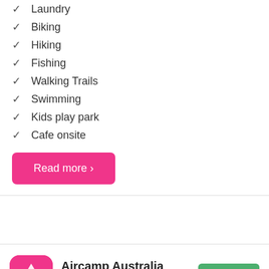✓ Laundry
✓ Biking
✓ Hiking
✓ Fishing
✓ Walking Trails
✓ Swimming
✓ Kids play park
✓ Cafe onsite
Read more ›
[Figure (logo): Aircamp Australia app icon — pink/red rounded square with white triangle tent logo]
Aircamp Australia
Find campsites Australia-wide, easy & free.
INSTALL